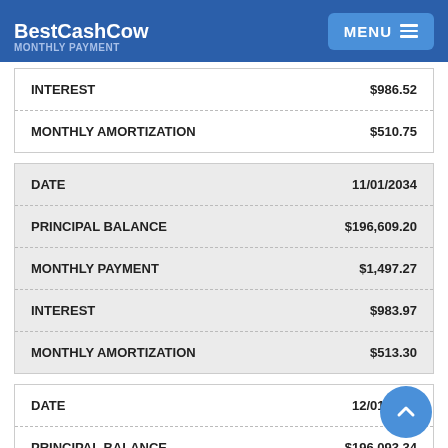BestCashCow | MONTHLY PAYMENT | MENU
|  |  |
| --- | --- |
| INTEREST | $986.52 |
| MONTHLY AMORTIZATION | $510.75 |
|  |  |
| --- | --- |
| DATE | 11/01/2034 |
| PRINCIPAL BALANCE | $196,609.20 |
| MONTHLY PAYMENT | $1,497.27 |
| INTEREST | $983.97 |
| MONTHLY AMORTIZATION | $513.30 |
|  |  |
| --- | --- |
| DATE | 12/01/2034 |
| PRINCIPAL BALANCE | $196,093.34 |